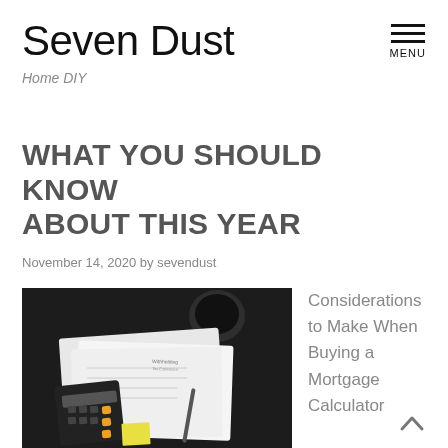Seven Dust
Home DIY
WHAT YOU SHOULD KNOW ABOUT THIS YEAR
November 14, 2020 by sevendust
[Figure (photo): Overhead view of financial documents, calculator with orange buttons, and a coffee cup on a dark surface]
Considerations to Make When Buying a Mortgage Calculator